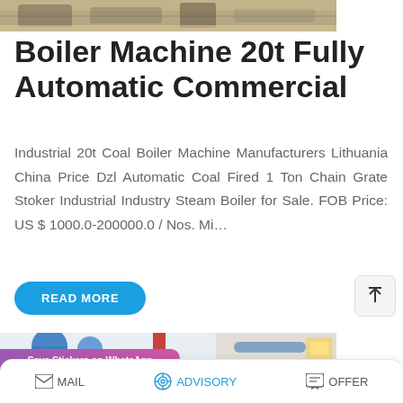[Figure (photo): Partial photo of industrial boiler machinery, visible at the top of the page]
Boiler Machine 20t Fully Automatic Commercial
Industrial 20t Coal Boiler Machine Manufacturers Lithuania China Price Dzl Automatic Coal Fired 1 Ton Chain Grate Stoker Industrial Industry Steam Boiler for Sale. FOB Price: US $ 1000.0-200000.0 / Nos. Mi…
[Figure (photo): Partial photo of industrial boiler pipes and equipment at the bottom of the page, with a WhatsApp sticker overlay]